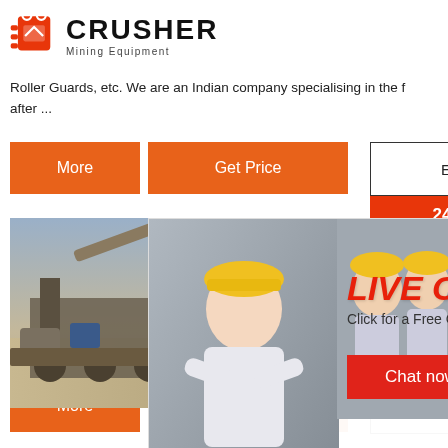[Figure (logo): Crusher Mining Equipment logo with red shopping bag icon and bold CRUSHER text]
Roller Guards, etc. We are an Indian company specialising in the f after ...
More
Get Price
Email contact
24Hrs Online
[Figure (photo): Mining machinery on site and live chat overlay with workers in hard hats, LIVE CHAT heading, Chat now and Chat later buttons]
LIVE CHAT
Click for a Free Consultation
Chat now
Chat later
Need questions & suggestion?
Chat Now
Enquiry
Email c
limingjlmofen@sina.com
More
Get Price